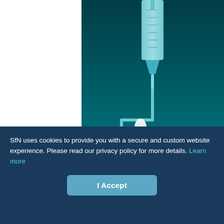[Figure (illustration): Medical advertisement showing a syringe at top with tubing forming a maze-like path leading through stacked rectangular banners reading 'ESCAPE FROM YOUR COMPLEX DOSING SCHEDULE'. The background is a dark teal/blue gradient. A white pill or capsule shape is visible within the maze path.]
SfN uses cookies to provide you with a secure and custom website experience. Please read our privacy policy for more details. Learn more